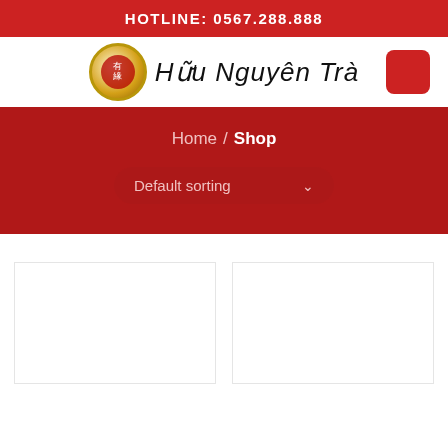HOTLINE: 0567.288.888
[Figure (logo): Hữu Nguyên Trà brand logo with circular gold emblem and calligraphy text, plus red menu button on the right]
Home / Shop
Default sorting
[Figure (other): Two white product card placeholders in a grid layout]